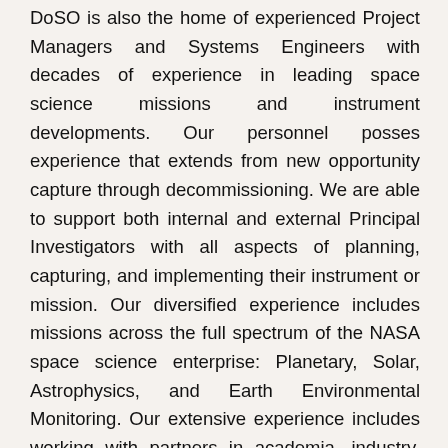DoSO is also the home of experienced Project Managers and Systems Engineers with decades of experience in leading space science missions and instrument developments. Our personnel posses experience that extends from new opportunity capture through decommissioning. We are able to support both internal and external Principal Investigators with all aspects of planning, capturing, and implementing their instrument or mission. Our diversified experience includes missions across the full spectrum of the NASA space science enterprise: Planetary, Solar, Astrophysics, and Earth Environmental Monitoring. Our extensive experience includes working with partners in academia, industry, government, and foreign institutions.